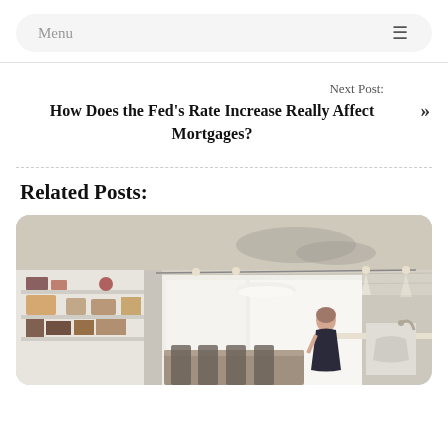Menu
Next Post:
How Does the Fed's Rate Increase Really Affect Mortgages?
Related Posts:
[Figure (photo): Interior photo of a modern loft apartment with concrete ceiling, white kitchen and shelving, dining table with chairs, and a woman standing in the space]